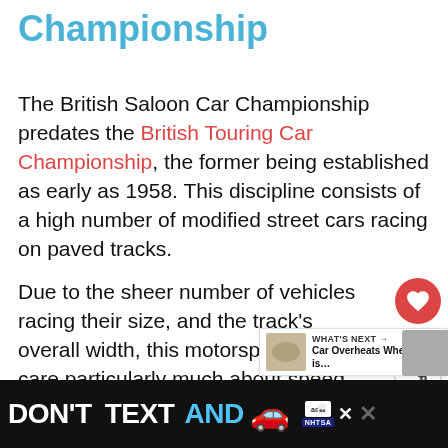Championship
The British Saloon Car Championship predates the British Touring Car Championship, the former being established as early as 1958. This discipline consists of a high number of modified street cars racing on paved tracks.
Due to the sheer number of vehicles racing their size, and the track's overall width, this motorsport doesn't care particularly much about speed. Instead, it is more about and durability. Bumping and nudging while overtaking is somewhat common and